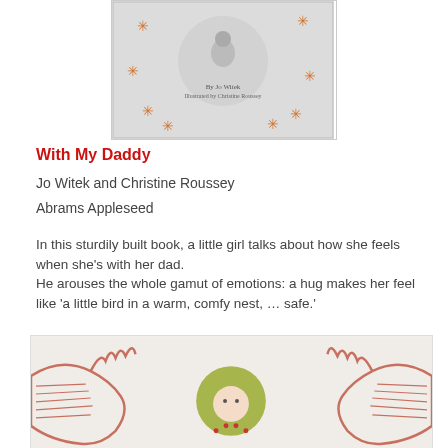[Figure (photo): Book cover of 'With My Daddy' by Jo Witek, illustrated by Christine Roussey, showing a child with orange star decorations on a light background]
With My Daddy
Jo Witek and Christine Roussey
Abrams Appleseed
In this sturdily built book, a little girl talks about how she feels when she’s with her dad. He arouses the whole gamut of emotions: a hug makes her feel like ‘a little bird in a warm, comfy nest, … safe.’
[Figure (photo): Illustration from the book showing two large hands embracing a small child with a green circular head covering, drawn in red/orange sketch style]